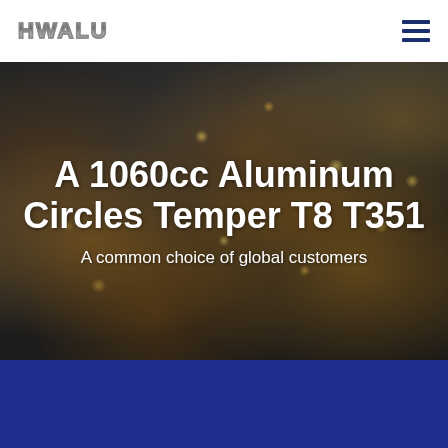[Figure (logo): HWALU metallic logo text in top-left corner of white navigation bar]
[Figure (other): Hamburger menu icon (three horizontal dark blue lines) in top-right corner]
[Figure (photo): Dark industrial background with scattered bokeh orange/gold sparks and circular metal log cross-sections, used as hero banner background]
A 1060cc Aluminum Circles Temper T8 T351
A common choice of global customers
[Figure (other): Solid dark navy/royal blue rectangular section filling the bottom portion of the page]